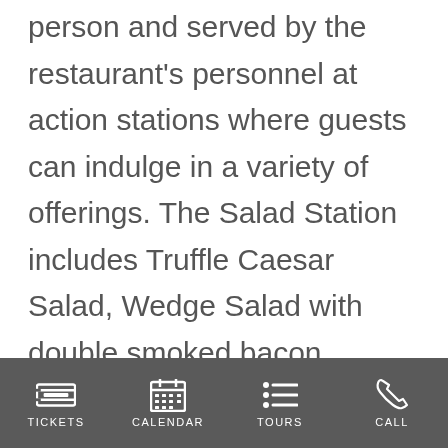person and served by the restaurant's personnel at action stations where guests can indulge in a variety of offerings. The Salad Station includes Truffle Caesar Salad, Wedge Salad with double smoked bacon, Heirloom Tomato Carpaccio, Farro Salad and Baby Kale Salad. Guests will surely enjoy the Rodizio De La Parilla Station featuring  Picanha steak, Achiote Chicken, Tomahawk Pork Chop, Argentinian Chorizo and Fried Grouper; and the Dessert Bar showcases a variety of Pan-Latin cakes
TICKETS  CALENDAR  TOURS  CALL